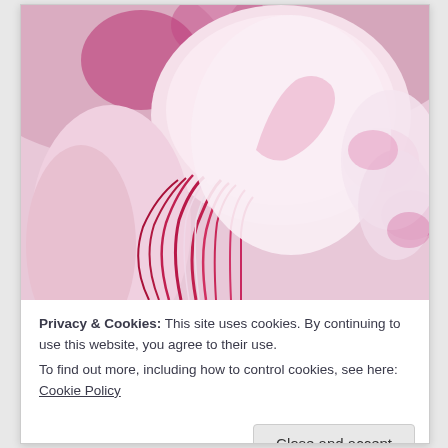[Figure (photo): Close-up macro photograph of pink and white flower petals with deep magenta/hot pink accents and curling stamens in the center]
Privacy & Cookies: This site uses cookies. By continuing to use this website, you agree to their use.
To find out more, including how to control cookies, see here: Cookie Policy
Close and accept